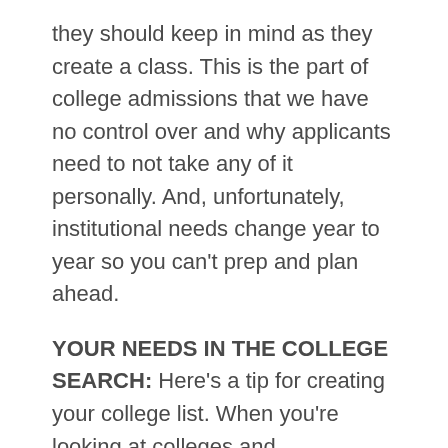they should keep in mind as they create a class. This is the part of college admissions that we have no control over and why applicants need to not take any of it personally. And, unfortunately, institutional needs change year to year so you can't prep and plan ahead.
YOUR NEEDS IN THE COLLEGE SEARCH:
Here's a tip for creating your college list. When you're looking at colleges and researching them, check out their mental health resources. Are they readily available? Is students' mental health a priority for the college? Do they have